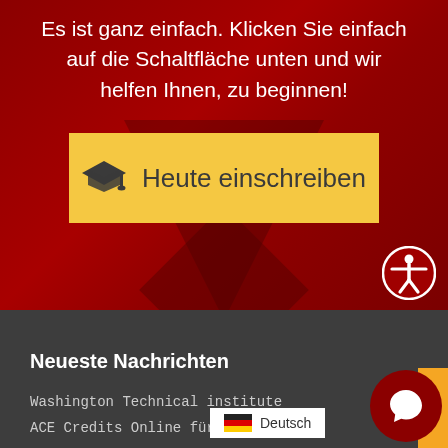Es ist ganz einfach. Klicken Sie einfach auf die Schaltfläche unten und wir helfen Ihnen, zu beginnen!
[Figure (other): Yellow enrollment call-to-action button with graduation cap icon and text 'Heute einschreiben']
[Figure (other): Circular accessibility icon (person with arms out) on red background, white border]
Neueste Nachrichten
Washington Technical institute
ACE Credits Online für College-K...
[Figure (other): German flag icon with 'Deutsch' language label in a white popup]
[Figure (other): Dark red circular chat bubble button with speech bubble icon, bottom right corner]